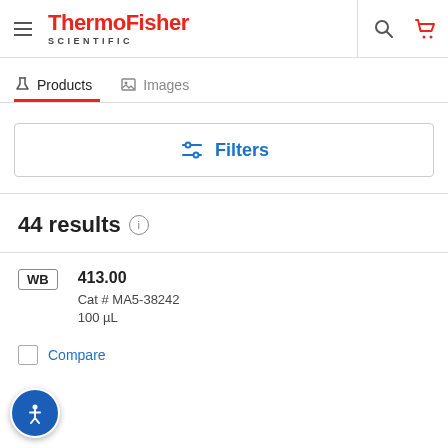[Figure (screenshot): ThermoFisher Scientific website header with hamburger menu, logo, search icon, and cart icon]
Products   Images
Filters
44 results
WB
413.00
Cat # MA5-38242
100 µL
Compare